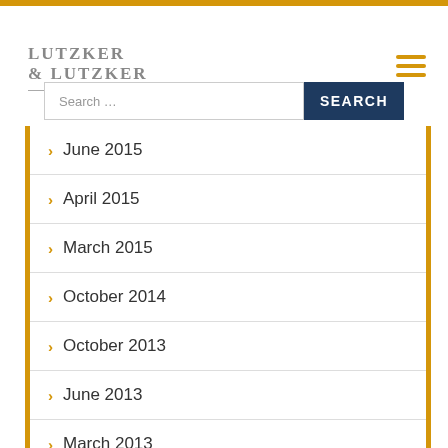[Figure (logo): Lutzker & Lutzker LLP law firm logo in grey serif text]
June 2015
April 2015
March 2015
October 2014
October 2013
June 2013
March 2013